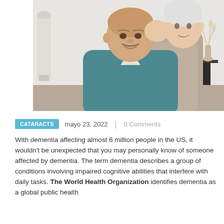[Figure (photo): An elderly couple smiling indoors. An older man in a teal V-neck sweater stands in front while an elderly woman with short white hair hugs him from behind and kisses his cheek. A light-colored room with a decorative vase in the background.]
CATARACTS   mayo 23, 2022   0 Comments
With dementia affecting almost 6 million people in the US, it wouldn't be unexpected that you may personally know of someone affected by dementia. The term dementia describes a group of conditions involving impaired cognitive abilities that interfere with daily tasks. The World Health Organization identifies dementia as a global public health